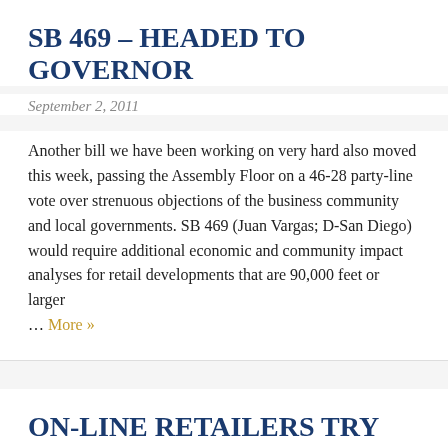SB 469 – HEADED TO GOVERNOR
September 2, 2011
Another bill we have been working on very hard also moved this week, passing the Assembly Floor on a 46-28 party-line vote over strenuous objections of the business community and local governments. SB 469 (Juan Vargas; D-San Diego) would require additional economic and community impact analyses for retail developments that are 90,000 feet or larger … More »
ON-LINE RETAILERS TRY TO END-RUN BUDGET